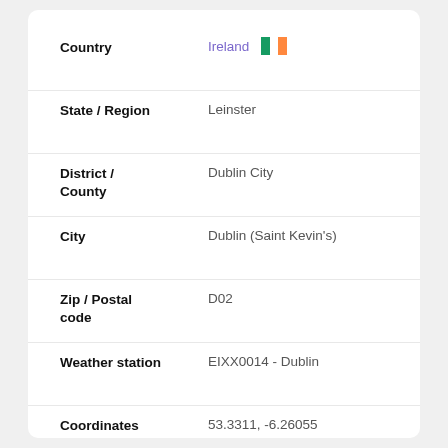| Field | Value |
| --- | --- |
| Country | Ireland 🇮🇪 |
| State / Region | Leinster |
| District / County | Dublin City |
| City | Dublin (Saint Kevin's) |
| Zip / Postal code | D02 |
| Weather station | EIXX0014 - Dublin |
| Coordinates | 53.3311, -6.26055 |
| Timezone | Europe/Dublin (UTC+1) |
| Local time | 04:15:53 |